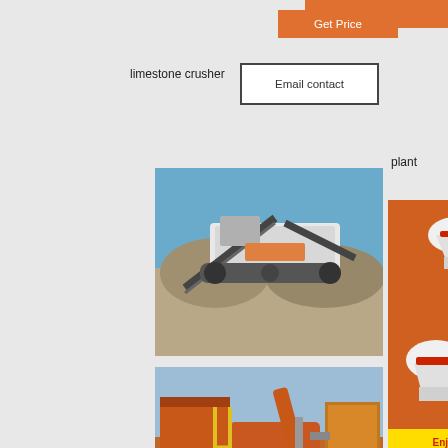Get Price
limestone crusher
Email contact
plant
pri
[Figure (photo): Mobile crushing plant / stone crusher machine in outdoor quarry setting with blue sky]
[Figure (photo): Orange-colored industrial crusher / hammer mill machine at a plant facility]
[Figure (photo): Orange sidebar advertisement showing multiple mining/crushing machine models with Enjoy 3% discount and Click to Chat banner, Enquiry section, and limingjlmofen@sina.com contact]
malaysia
Kenwood Sandwich Maker Sm740